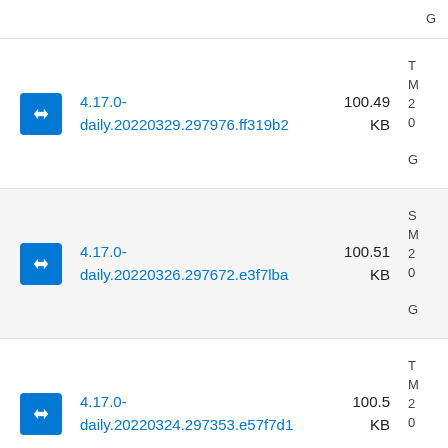G
4.17.0-daily.20220329.297976.ff319b2 100.49 KB T M 2 0 G
4.17.0-daily.20220326.297672.e3f7lba 100.51 KB S M 2 0 G
4.17.0-daily.20220324.297353.e57f7d1 100.5 KB T M 2 0 G